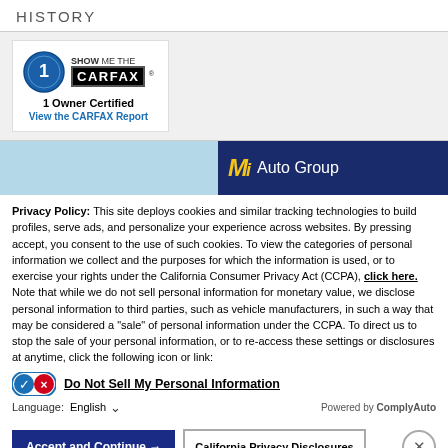HISTORY
[Figure (logo): CARFAX 1 Owner Certified badge with 'SHOW ME THE CARFAX' logo, '1 Owner Certified' text, and 'View the CARFAX Report' link]
[Figure (photo): MI Auto Group dealer banner image with blue sky on left and dark blue background with yellow MI logo and white 'Auto Group' text on right]
Privacy Policy: This site deploys cookies and similar tracking technologies to build profiles, serve ads, and personalize your experience across websites. By pressing accept, you consent to the use of such cookies. To view the categories of personal information we collect and the purposes for which the information is used, or to exercise your rights under the California Consumer Privacy Act (CCPA), click here. Note that while we do not sell personal information for monetary value, we disclose personal information to third parties, such as vehicle manufacturers, in such a way that may be considered a "sale" of personal information under the CCPA. To direct us to stop the sale of your personal information, or to re-access these settings or disclosures at anytime, click the following icon or link:
Do Not Sell My Personal Information
Language: English   Powered by ComplyAuto
Accept and Continue →   California Privacy Disclosures